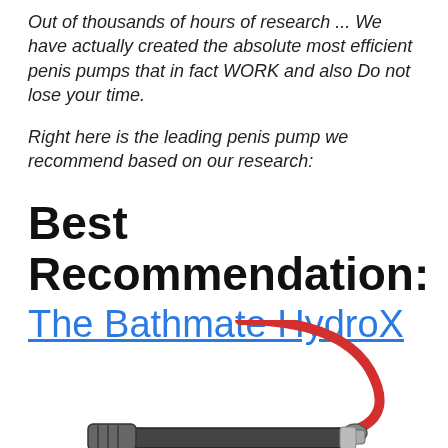Out of thousands of hours of research ... We have actually created the absolute most efficient penis pumps that in fact WORK and also Do not lose your time.
Right here is the leading penis pump we recommend based on our research:
Best Recommendation: The Bathmate HydroX
[Figure (photo): Product photo of a pump device with a red tube/hose and grey/black body, partially cropped at bottom of page]